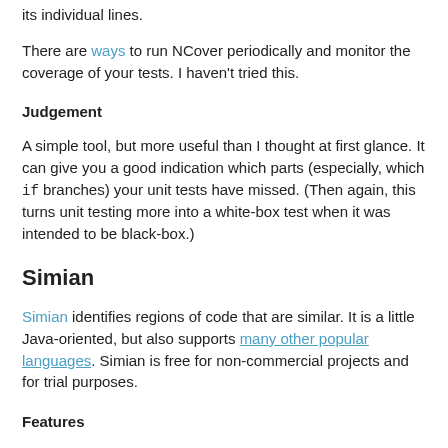its individual lines.
There are ways to run NCover periodically and monitor the coverage of your tests. I haven't tried this.
Judgement
A simple tool, but more useful than I thought at first glance. It can give you a good indication which parts (especially, which if branches) your unit tests have missed. (Then again, this turns unit testing more into a white-box test when it was intended to be black-box.)
Simian
Simian identifies regions of code that are similar. It is a little Java-oriented, but also supports many other popular languages. Simian is free for non-commercial projects and for trial purposes.
Features
There is no GUI or Visual Studio plugin, you'll have to work